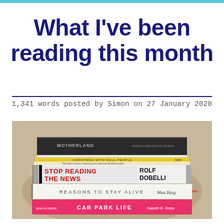What I've been reading this month
1,341 words posted by Simon on 27 January 2020
[Figure (photo): A stack of books on a beige/tan surface against a light wall. Books visible from top to bottom: a dark/black cover book at top, 'Christmas with Dull People' by Saki (thin yellow spine), a thin book with small text, 'Stop Reading The News' by Rolf Dobelli (black and white with red text), 'Reasons to Stay Alive' by Matt Haig (white cover), and 'Car Park Life' by Gareth E. Rees (pink cover at bottom).]